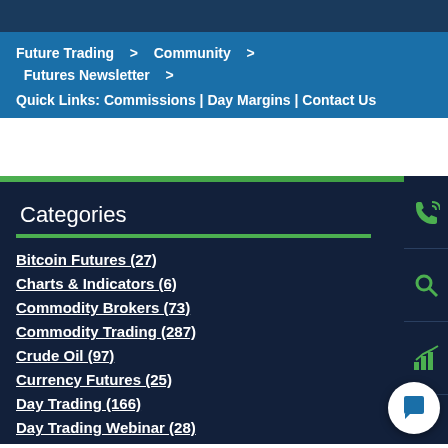Future Trading > Community > Futures Newsletter >
Quick Links: Commissions | Day Margins | Contact Us
Categories
Bitcoin Futures (27)
Charts & Indicators (6)
Commodity Brokers (73)
Commodity Trading (287)
Crude Oil (97)
Currency Futures (25)
Day Trading (166)
Day Trading Webinar (28)
Economic Trading (18)